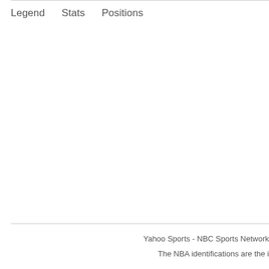Legend   Stats   Positions
Yahoo Sports - NBC Sports Network
The NBA identifications are the i